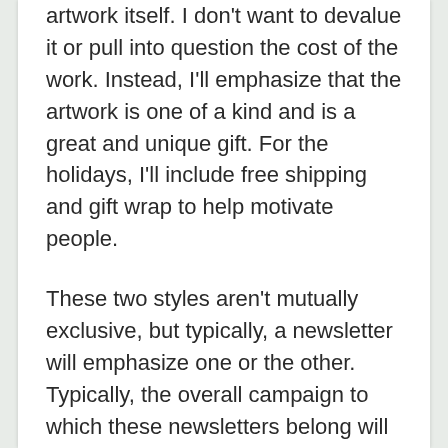artwork itself. I don't want to devalue it or pull into question the cost of the work. Instead, I'll emphasize that the artwork is one of a kind and is a great and unique gift. For the holidays, I'll include free shipping and gift wrap to help motivate people.
These two styles aren't mutually exclusive, but typically, a newsletter will emphasize one or the other. Typically, the overall campaign to which these newsletters belong will lean one way or another.